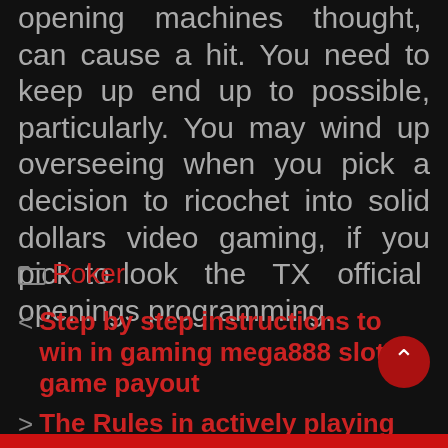opening machines thought, can cause a hit. You need to keep up end up to possible, particularly. You may wind up overseeing when you pick a decision to ricochet into solid dollars video gaming, if you pick to look the TX official openings programming.
Poker
< Step by step instructions to win in gaming mega888 slot game payout
> The Rules in actively playing Baccarat